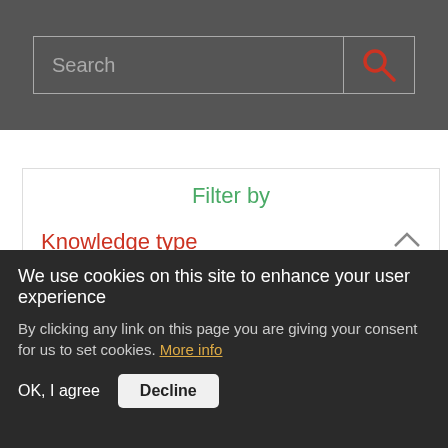[Figure (screenshot): Search bar with grey background and red search icon button on right]
Filter by
Knowledge type
Feature (22)
Reset filter
Technical resources (5)
Thought leadership (3)
We use cookies on this site to enhance your user experience
By clicking any link on this page you are giving your consent for us to set cookies. More info
OK, I agree
Decline